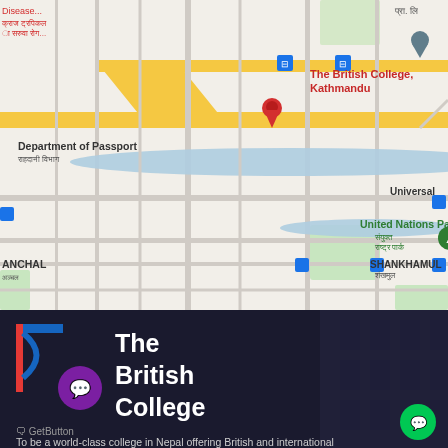[Figure (map): Google Maps screenshot showing the location of The British College, Kathmandu, Nepal. Map shows surrounding landmarks including Department of Passport, United Nations Park, The British School, The British College Chakupath Campus, Labim Mall, IMUKHEL, CHYASAL, Central Zoo, Patan Palace Square, SHANKHAMUL, and ANCHAL areas.]
[Figure (screenshot): Website screenshot showing The British College logo and branding on dark background. Logo features red and blue design elements with a purple chat bubble icon overlay. Text reads 'The British College' in white bold font. GetButton chat widget visible. Tagline begins: 'To be a world-class college in Nepal offering British and international']